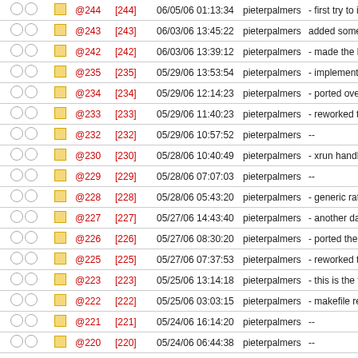|  |  |  | @rev | [rev] | date | author | description |
| --- | --- | --- | --- | --- | --- | --- | --- |
| ○ ○ | □ | @244 | [244] | 06/05/06 01:13:34 | pieterpalmers | - first try to impl |
| ○ ○ | □ | @243 | [243] | 06/03/06 13:45:22 | pieterpalmers | added some sta |
| ○ ○ | □ | @242 | [242] | 06/03/06 13:39:12 | pieterpalmers | - made the bou |
| ○ ○ | □ | @235 | [235] | 05/29/06 13:53:54 | pieterpalmers | - implemented |
| ○ ○ | □ | @234 | [234] | 05/29/06 12:14:23 | pieterpalmers | - ported over th |
| ○ ○ | □ | @233 | [233] | 05/29/06 11:40:23 | pieterpalmers | - reworked the |
| ○ ○ | □ | @232 | [232] | 05/29/06 10:57:52 | pieterpalmers | -- |
| ○ ○ | □ | @230 | [230] | 05/28/06 10:40:49 | pieterpalmers | - xrun handling |
| ○ ○ | □ | @229 | [229] | 05/28/06 07:07:03 | pieterpalmers | -- |
| ○ ○ | □ | @228 | [228] | 05/28/06 05:43:20 | pieterpalmers | - generic rate c |
| ○ ○ | □ | @227 | [227] | 05/27/06 14:43:40 | pieterpalmers | - another day o |
| ○ ○ | □ | @226 | [226] | 05/27/06 08:30:20 | pieterpalmers | - ported the mo |
| ○ ○ | □ | @225 | [225] | 05/27/06 07:37:53 | pieterpalmers | - reworked the |
| ○ ○ | □ | @223 | [223] | 05/25/06 13:14:18 | pieterpalmers | - this is the first |
| ○ ○ | □ | @222 | [222] | 05/25/06 03:03:15 | pieterpalmers | - makefile rewo |
| ○ ○ | □ | @221 | [221] | 05/24/06 16:14:20 | pieterpalmers | -- |
| ○ ○ | □ | @220 | [220] | 05/24/06 06:44:38 | pieterpalmers | -- |